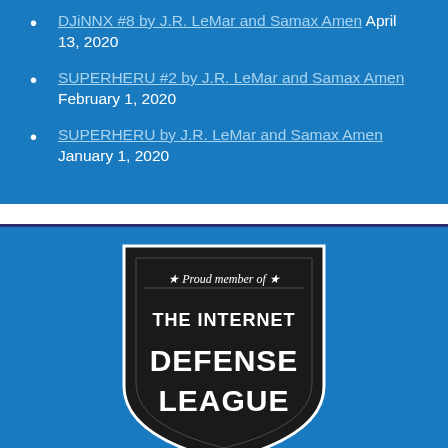DJiNNX #8 by J.R. LeMar and Samax Amen April 13, 2020
SUPERHERU #2 by J.R. LeMar and Samax Amen February 1, 2020
SUPERHERU by J.R. LeMar and Samax Amen January 1, 2020
[Figure (logo): Internet Defense League shield logo with text: star Proud member of star, THE INTERNET DEFENSE LEAGUE, on black shield background]